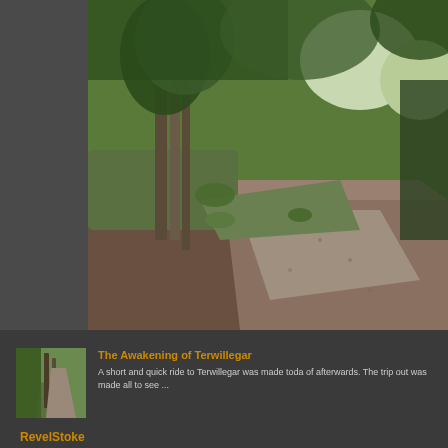[Figure (photo): Forest trail path winding through trees with green foliage, gravel/dirt path visible on the right side, trees with bare trunks on the left, dark sidebar strip on left edge]
[Figure (photo): Thumbnail image of a forested trail path, similar woodland scene with trees]
The Awakening of Terwillegar
A short and quick ride to Terwillegar was made toda of afterwards. The trip out was made all to see ...
RevelStoke